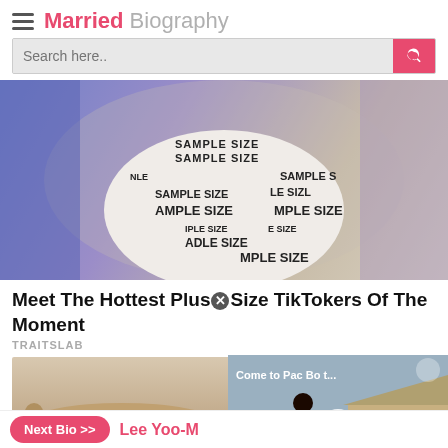Married Biography
[Figure (photo): Plus size model on runway wearing a white outfit with 'SAMPLE SIZE' text printed repeatedly, with tattoos visible on arms, against a blue/purple background]
Meet The Hottest Plus Size TikTokers Of The Moment
TRAITSLAB
[Figure (photo): Small thumbnail image showing what appears to be a long thin object]
[Figure (screenshot): Video thumbnail showing 'Come to Pac Bo t...' with a play button, scene shows a person in red near a building]
Next Bio >> Lee Yoo-M